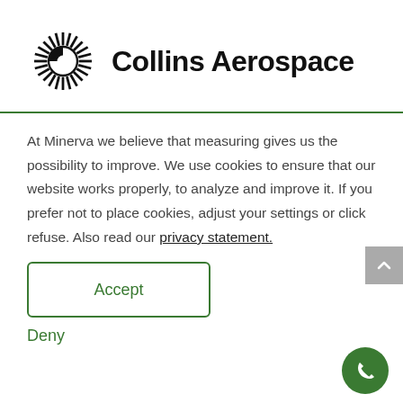[Figure (logo): Collins Aerospace logo: sunburst/gear icon in black with the text 'Collins Aerospace' in bold black sans-serif]
At Minerva we believe that measuring gives us the possibility to improve. We use cookies to ensure that our website works properly, to analyze and improve it. If you prefer not to place cookies, adjust your settings or click refuse. Also read our privacy statement.
Accept
Deny